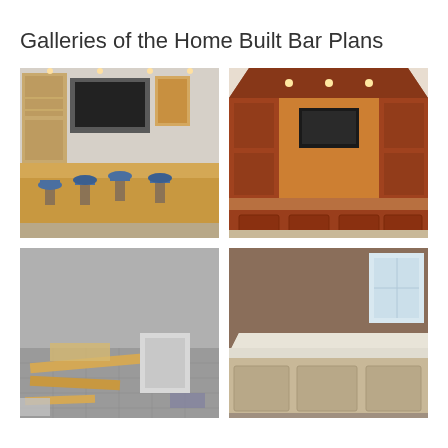Galleries of the Home Built Bar Plans
[Figure (photo): Home bar with light wood construction, blue bar stools, glass display cabinets, and a TV mounted on the wall in a basement setting]
[Figure (photo): Elegant dark cherry wood home bar with an octagonal/angled shape, recessed lighting in the ceiling structure, glass cabinets, and a TV screen]
[Figure (photo): Home bar under construction showing wooden frame pieces laid out on a tile floor with tools and materials]
[Figure (photo): Partially constructed home bar with white/cream countertop and wood panel base against a brown wall]